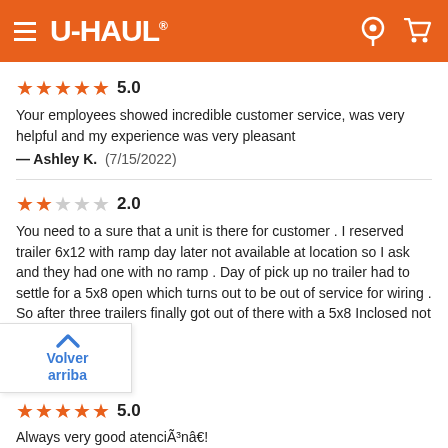U-HAUL
★★★★★ 5.0
Your employees showed incredible customer service, was very helpful and my experience was very pleasant
— Ashley K. (7/15/2022)
★★☆☆☆ 2.0
You need to a sure that a unit is there for customer . I reserved trailer 6x12 with ramp day later not available at location so I ask and they had one with no ramp . Day of pick up no trailer had to settle for a 5x8 open which turns out to be out of service for wiring . So after three trailers finally got out of there with a 5x8 Inclosed not a good experience
(7/14/2022)
Volver arriba
★★★★★ 5.0
Always very good atenciÃ³nâ€!